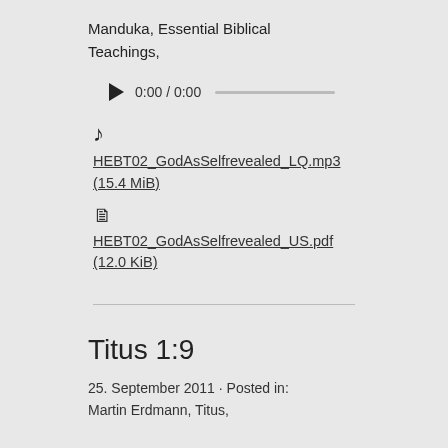Manduka, Essential Biblical Teachings,
[Figure (screenshot): Audio player widget showing play button, time display 0:00 / 0:00, and a progress bar]
♪ HEBT02_GodAsSelfrevealed_LQ.mp3 (15.4 MiB)
🗋 HEBT02_GodAsSelfrevealed_US.pdf (12.0 KiB)
Titus 1:9
25. September 2011 · Posted in: Martin Erdmann, Titus,